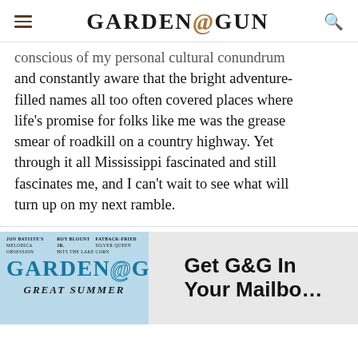GARDEN&GUN
conscious of my personal cultural conundrum and constantly aware that the bright adventure-filled names all too often covered places where life's promise for folks like me was the grease smear of roadkill on a country highway. Yet through it all Mississippi fascinated and still fascinates me, and I can't wait to see what will turn up on my next ramble.
[Figure (other): Garden & Gun magazine subscription advertisement showing the magazine cover with GARDEN&GUN logo, 'GREAT SUMMER' text, and a 'Get G&G In Your Mailbox' call to action.]